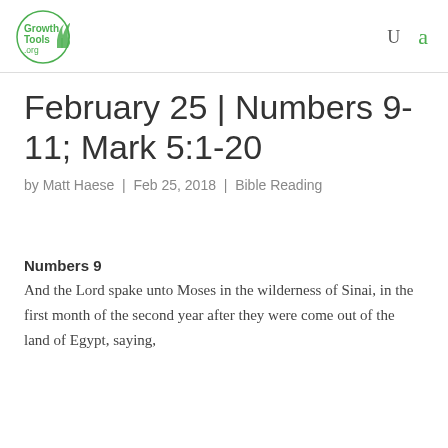GrowthTools.org | U | a
February 25 | Numbers 9-11; Mark 5:1-20
by Matt Haese | Feb 25, 2018 | Bible Reading
Numbers 9
And the Lord spake unto Moses in the wilderness of Sinai, in the first month of the second year after they were come out of the land of Egypt, saying,